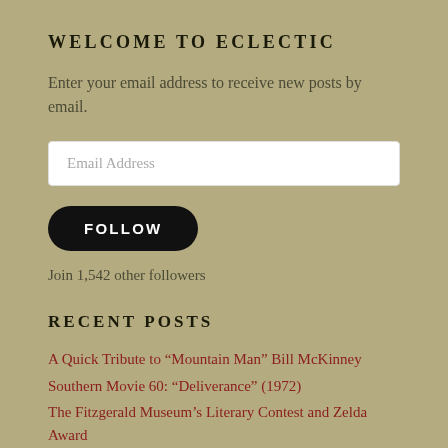WELCOME TO ECLECTIC
Enter your email address to receive new posts by email.
Email Address
FOLLOW
Join 1,542 other followers
RECENT POSTS
A Quick Tribute to “Mountain Man” Bill McKinney
Southern Movie 60: “Deliverance” (1972)
The Fitzgerald Museum’s Literary Contest and Zelda Award